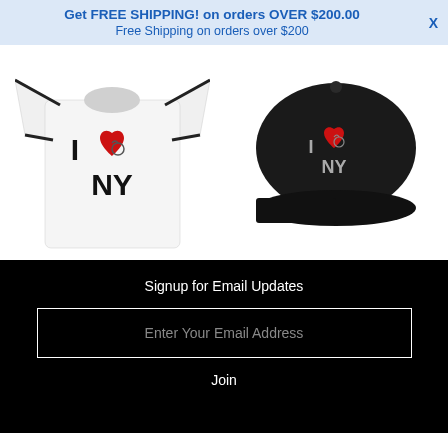Get FREE SHIPPING! on orders OVER $200.00
Free Shipping on orders over $200
[Figure (photo): White I Love NY t-shirt with a red heart and stethoscope graphic, black trim on sleeves and collar]
[Figure (photo): Black I Love NY baseball cap with red heart and stethoscope embroidered graphic]
Signup for Email Updates
Enter Your Email Address
Join